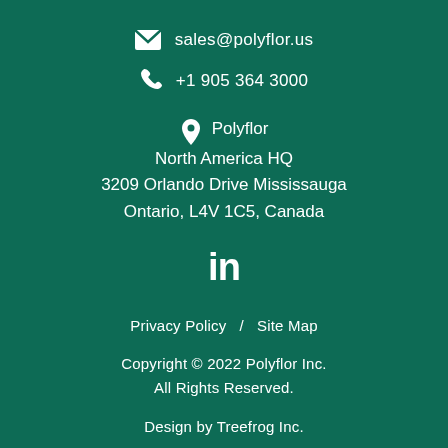sales@polyflor.us
+1 905 364 3000
Polyflor
North America HQ
3209 Orlando Drive Mississauga
Ontario, L4V 1C5, Canada
[Figure (logo): LinkedIn logo icon (in)]
Privacy Policy  /  Site Map
Copyright © 2022 Polyflor Inc.
All Rights Reserved.
Design by Treefrog Inc.